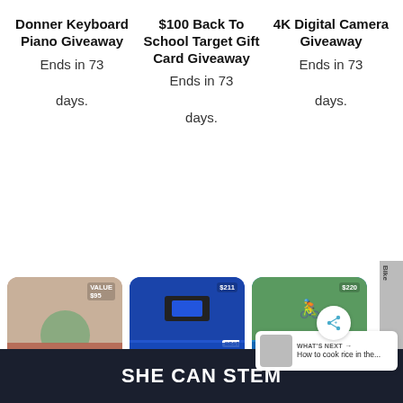Donner Keyboard Piano Giveaway
Ends in 73

days.
$100 Back To School Target Gift Card Giveaway
Ends in 73

days.
4K Digital Camera Giveaway
Ends in 73

days.
[Figure (photo): Buddha Board Review & Giveaway card with plant/desk background]
[Figure (photo): Electronics Lover Instant Win card with Best Buy electronics background]
[Figure (photo): Schwinn Mountain Bike Giveaway card with cyclist on road background]
WHAT'S NEXT → How to cook rice in the...
SHE CAN STEM